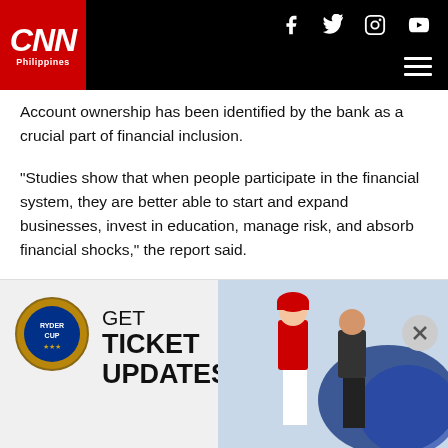CNN Philippines
Account ownership has been identified by the bank as a crucial part of financial inclusion.
"Studies show that when people participate in the financial system, they are better able to start and expand businesses, invest in education, manage risk, and absorb financial shocks," the report said.
"For most people, owning an account provides an entry point into the formal financial system. An account makes it easier and often more affordable to pay bills, to receive payments, and to send or receive remittances. It also offers a safe place to store
[Figure (illustration): Ryder Cup advertisement showing two golfers and GET TICKET UPDATES text with Ryder Cup logo]